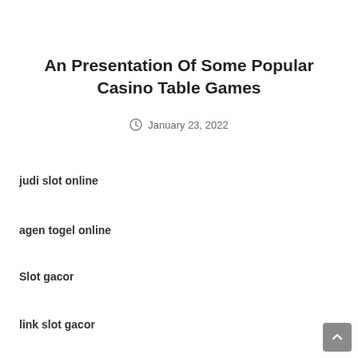An Presentation Of Some Popular Casino Table Games
January 23, 2022
judi slot online
agen togel online
Slot gacor
link slot gacor